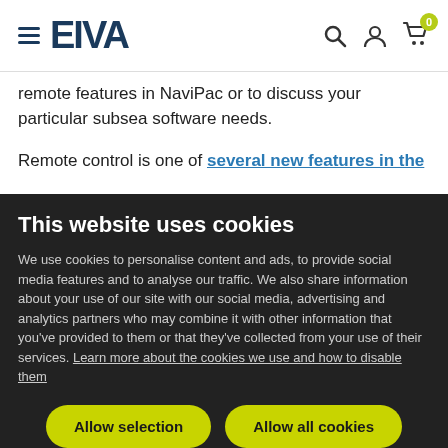EIVA — navigation header with hamburger menu, search, user, and cart icons
remote features in NaviPac or to discuss your particular subsea software needs.
Remote control is one of several new features in the
This website uses cookies
We use cookies to personalise content and ads, to provide social media features and to analyse our traffic. We also share information about your use of our site with our social media, advertising and analytics partners who may combine it with other information that you've provided to them or that they've collected from your use of their services. Learn more about the cookies we use and how to disable them
Allow selection
Allow all cookies
Necessary  Preferences  Statistics  Marketing  Show details